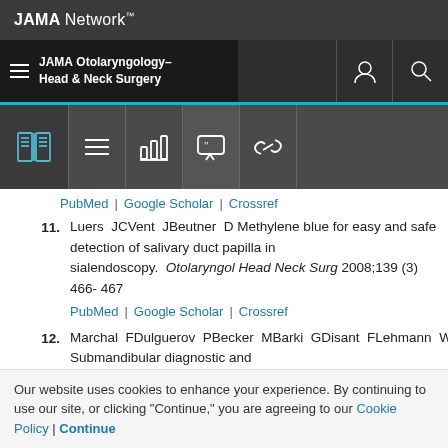JAMA Network™
JAMA Otolaryngology–Head & Neck Surgery
PubMed | Google Scholar | Crossref
11. Luers JCVent JBeutner D Methylene blue for easy and safe detection of salivary duct papilla in sialendoscopy. Otolaryngol Head Neck Surg 2008;139(3) 466-467
PubMed | Google Scholar | Crossref
12. Marchal FDulguerov PBecker MBarki GDisant FLehmann W Submandibular diagnostic and
Our website uses cookies to enhance your experience. By continuing to use our site, or clicking "Continue," you are agreeing to our Cookie Policy | Continue